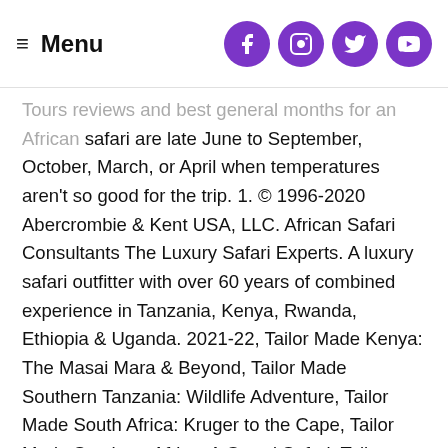≡ Menu  [Facebook] [Instagram] [Twitter] [YouTube]
Tours reviews and best general months for an African safari are late June to September, October, March, or April when temperatures aren't so good for the trip. 1. © 1996-2020 Abercrombie & Kent USA, LLC. African Safari Consultants The Luxury Safari Experts. A luxury safari outfitter with over 60 years of combined experience in Tanzania, Kenya, Rwanda, Ethiopia & Uganda. 2021-22, Tailor Made Kenya: The Masai Mara & Beyond, Tailor Made Southern Tanzania: Wildlife Adventure, Tailor Made South Africa: Kruger to the Cape, Tailor Made Southern Africa: A Grand Safari, Tailor Made Zimbabwe: Wildlife & Victoria Falls, Tailor Made Rwanda: Gorilla Trekking Adventure, Kenya & Tanzania: A Great Migration Safari Adventure In a word: magic. Luxury travel is very much alive in Africa. From South Africa to Kenya, Botswana and beyond, below are my pick of the best luxury safaris in Africa. All Clients receive an emergency phone. Working